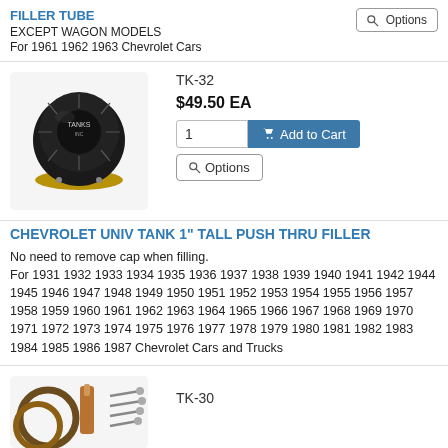FILLER TUBE
EXCEPT WAGON MODELS
For 1961 1962 1963 Chevrolet Cars
[Figure (photo): Black universal fuel tank filler cap with 'TANKS INC' branding, showing push-through style cap.]
TK-32
$49.50 EA
CHEVROLET UNIV TANK 1" TALL PUSH THRU FILLER
No need to remove cap when filling.
For 1931 1932 1933 1934 1935 1936 1937 1938 1939 1940 1941 1942 1944 1945 1946 1947 1948 1949 1950 1951 1952 1953 1954 1955 1956 1957 1958 1959 1960 1961 1962 1963 1964 1965 1966 1967 1968 1969 1970 1971 1972 1973 1974 1975 1976 1977 1978 1979 1980 1981 1982 1983 1984 1985 1986 1987 Chevrolet Cars and Trucks
[Figure (photo): Fuel filler neck kit with gaskets and hardware, partially visible at bottom of page.]
TK-30